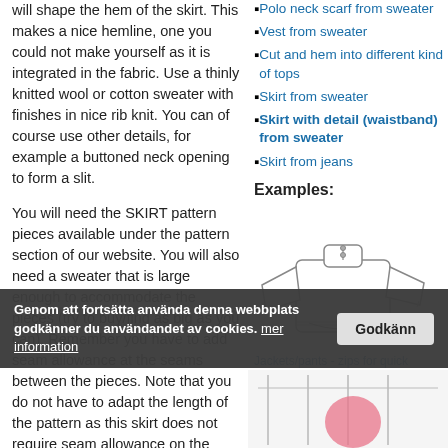will shape the hem of the skirt. This makes a nice hemline, one you could not make yourself as it is integrated in the fabric. Use a thinly knitted wool or cotton sweater with finishes in nice rib knit. You can of course use other details, for example a buttoned neck opening to form a slit.
Polo neck scarf from sweater
Vest from sweater
Cut and hem into different kind of tops
Skirt from sweater
Skirt with detail (waistband) from sweater
Skirt from jeans
Examples:
[Figure (illustration): Line drawing illustration of a sweater/garment piece showing construction detail]
Jackets/pants - zips for quick dressing and undressing.
You will need the SKIRT pattern pieces available under the pattern section of our website. You will also need a sweater that is large enough to accommodate the pieces (try to buy/find as big as you can). Remember you have to add seam allowance at the seams between the pieces. Note that you do not have to adapt the length of the pattern as this skirt does not require seam allowance on the
Genom att fortsätta använda denna webbplats godkänner du användandet av cookies. mer information
Godkänn